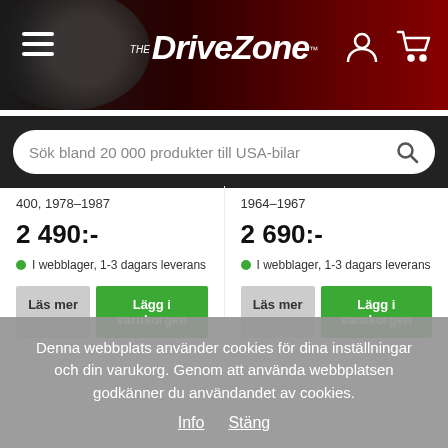[Figure (screenshot): DriveZone website header with hamburger menu, logo, user and cart icons on dark background with car imagery]
Sök bland 20 000 produkter till USA-bilar
400, 1978–1987
1964–1967
2 490:-
2 690:-
I webblager, 1-3 dagars leverans
I webblager, 1-3 dagars leverans
Läs mer
Lägg i varukorgen
Läs mer
Lägg i varukorgen
Denna webbplats använder cookies för dina inställningar och din varukorg. Genom att använda webbplatsen godkänner du användandet av cookies.
Info   Stäng